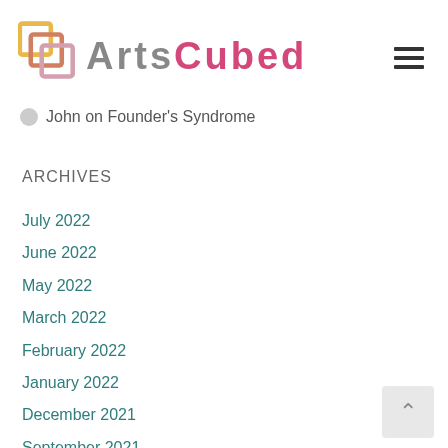[Figure (logo): ArtsCubed logo with colorful stacked squares icon and the text ARTSCUBED in grey and pink]
John on Founder's Syndrome
Archives
July 2022
June 2022
May 2022
March 2022
February 2022
January 2022
December 2021
September 2021